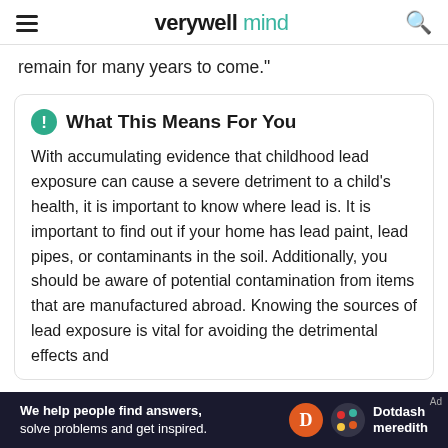verywell mind
remain for many years to come."
What This Means For You
With accumulating evidence that childhood lead exposure can cause a severe detriment to a child's health, it is important to know where lead is. It is important to find out if your home has lead paint, lead pipes, or contaminants in the soil. Additionally, you should be aware of potential contamination from items that are manufactured abroad. Knowing the sources of lead exposure is vital for avoiding the detrimental effects and
We help people find answers, solve problems and get inspired. Dotdash meredith